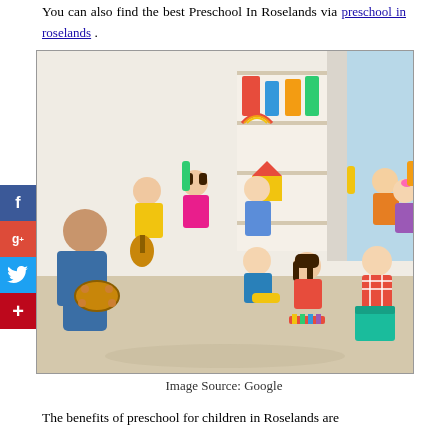You can also find the best Preschool In Roselands via preschool in roselands .
[Figure (photo): Children and a teacher sitting on the floor in a preschool classroom playing with musical instruments and toys. The room has white shelving units with colorful toys, and the children are engaged in music play.]
Image Source: Google
The benefits of preschool for children in Roselands are